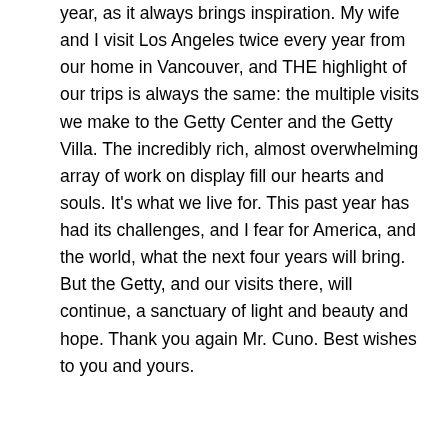year, as it always brings inspiration. My wife and I visit Los Angeles twice every year from our home in Vancouver, and THE highlight of our trips is always the same: the multiple visits we make to the Getty Center and the Getty Villa. The incredibly rich, almost overwhelming array of work on display fill our hearts and souls. It's what we live for. This past year has had its challenges, and I fear for America, and the world, what the next four years will bring. But the Getty, and our visits there, will continue, a sanctuary of light and beauty and hope. Thank you again Mr. Cuno. Best wishes to you and yours.